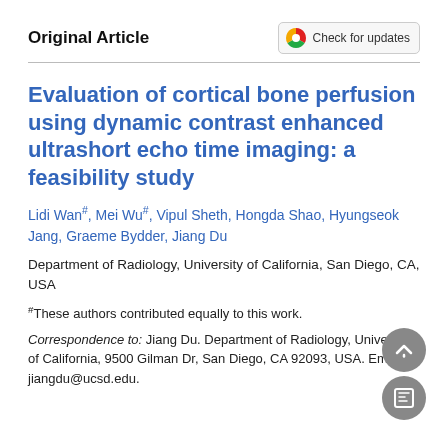Original Article
Evaluation of cortical bone perfusion using dynamic contrast enhanced ultrashort echo time imaging: a feasibility study
Lidi Wan#, Mei Wu#, Vipul Sheth, Hongda Shao, Hyungseok Jang, Graeme Bydder, Jiang Du
Department of Radiology, University of California, San Diego, CA, USA
#These authors contributed equally to this work.
Correspondence to: Jiang Du. Department of Radiology, University of California, 9500 Gilman Dr, San Diego, CA 92093, USA. Email: jiangdu@ucsd.edu.